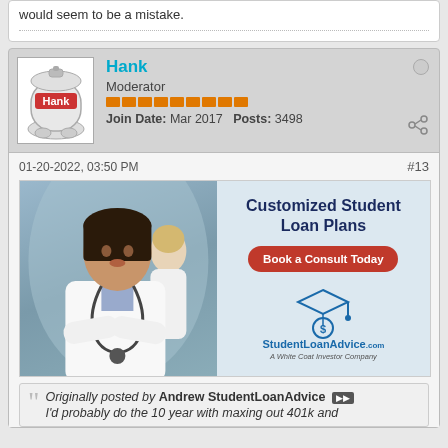would seem to be a mistake.
Hank
Moderator
Join Date: Mar 2017   Posts: 3498
01-20-2022, 03:50 PM   #13
[Figure (illustration): Advertisement banner for StudentLoanAdvice.com showing a doctor in a white coat with stethoscope, text reading 'Customized Student Loan Plans', a red 'Book a Consult Today' button, and the StudentLoanAdvice.com logo with tagline 'A White Coat Investor Company']
Originally posted by Andrew StudentLoanAdvice
I'd probably do the 10 year with maxing out 401k and